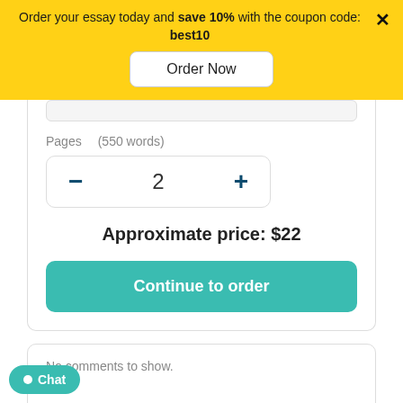Order your essay today and save 10% with the coupon code: best10
Order Now
Pages   (550 words)
- 2 +
Approximate price: $22
Continue to order
No comments to show.
Chat